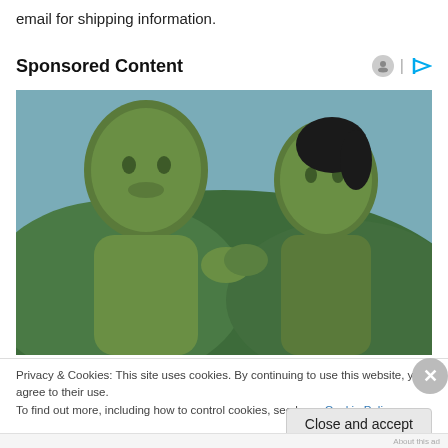email for shipping information.
Sponsored Content
[Figure (photo): Two green-skinned characters (CGI/Marvel style) facing each other in front of a lush forested background. The left figure is a large male and the right is a female, both with greenish skin, from what appears to be the She-Hulk TV series.]
Privacy & Cookies: This site uses cookies. By continuing to use this website, you agree to their use.
To find out more, including how to control cookies, see here: Cookie Policy
Close and accept